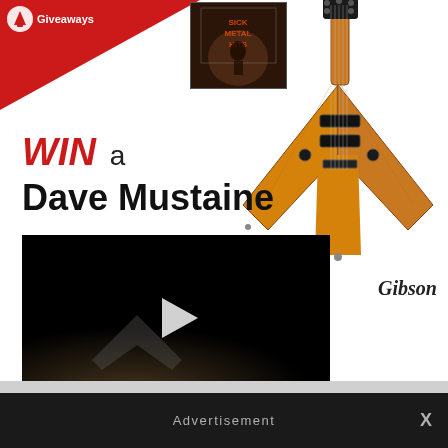[Figure (screenshot): Website giveaway page showing a Gibson Dave Mustaine guitar, album art, video player, and giveaway list items. Red corner banner with 'Giveaways' logo, orange V-shaped Gibson guitar, album cover image, embedded video player with play button.]
WIN a Dave Mustaine
[Figure (photo): Orange Gibson Dave Mustaine Flying V style electric guitar with black hardware, Gibson logo visible]
[Figure (screenshot): Video player showing dark video with play button, appears to be a guitar/music related video]
ay
away from Wren &
Summer Rig Giveaway from D'Angelico, Supro, and Pigtronix!
Orangewood Guitars Oliver Acoustic Giveaway!
Advertisement
X